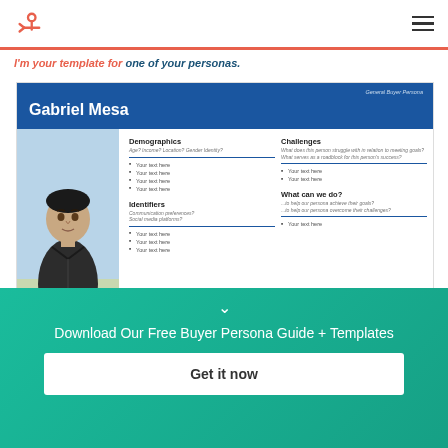HubSpot logo and navigation
I'm your template for one of your personas.
[Figure (infographic): Buyer persona template card for Gabriel Mesa with photo, Demographics, Identifiers, Challenges, and What can we do sections]
Download Our Free Buyer Persona Guide + Templates
Get it now